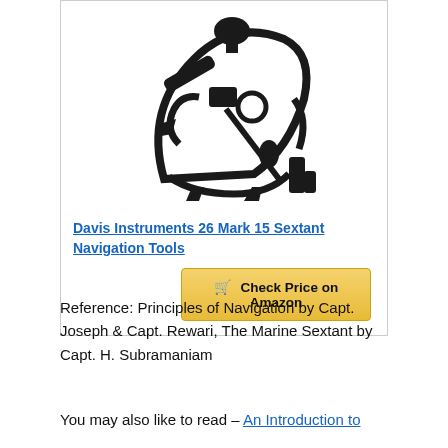[Figure (photo): Photo of a black Davis Instruments Mark 15 marine sextant navigation instrument with accessories]
Davis Instruments 26 Mark 15 Sextant Navigation Tools
Check Price on Amazon
Reference: Principles of Navigation by Capt. Joseph & Capt. Rewari, The Marine Sextant by Capt. H. Subramaniam
You may also like to read – An Introduction to